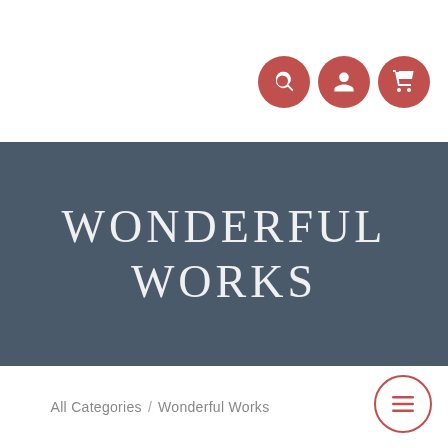[Figure (screenshot): Three icon circles (search, user, cart) in terracotta/red color in the top right of the header area]
WONDERFUL WORKS
All Categories / Wonderful Works
[Figure (illustration): Hamburger menu button circle with terracotta/red border in bottom right corner]